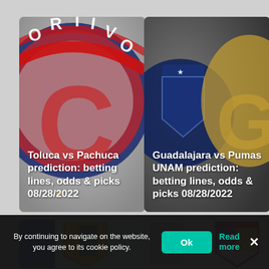[Figure (photo): Card showing partial Toluca soccer club logo (red and white circular crest on grey background) with text overlay: Toluca vs Pachuca prediction: betting lines, odds & picks 08/28/2022]
[Figure (photo): Card showing partial Pumas UNAM soccer club logo (dark navy blue circular crest with gold puma) on dark background with text overlay: Guadalajara vs Pumas UNAM prediction: betting lines, odds & picks 08/28/2022]
[Figure (photo): Partially visible bottom-left card showing yellow/blue soccer club logos on white background]
[Figure (photo): Partially visible bottom-right card showing red/blue/yellow soccer club logos on white background]
By continuing to navigate on the website, you agree to its cookie policy.